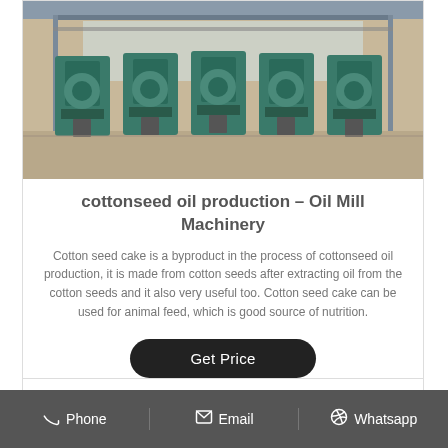[Figure (photo): Industrial oil mill machinery — row of large green metal pressing machines inside a factory building with overhead pipes and natural lighting.]
cottonseed oil production – Oil Mill Machinery
Cotton seed cake is a byproduct in the process of cottonseed oil production, it is made from cotton seeds after extracting oil from the cotton seeds and it also very useful too. Cotton seed cake can be used for animal feed, which is good source of nutrition.
Get Price
Phone  Email  Whatsapp